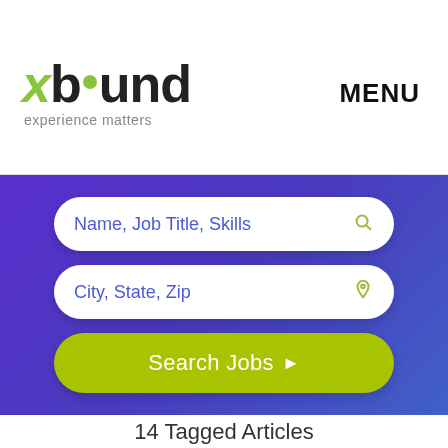[Figure (logo): Xbound logo with green x, dot, and tagline 'experience matters']
MENU
[Figure (screenshot): Purple gradient search section with two input fields (Name, Job Title, Skills) and (City, State, Zip) and a green Search Jobs button]
14 Tagged Articles